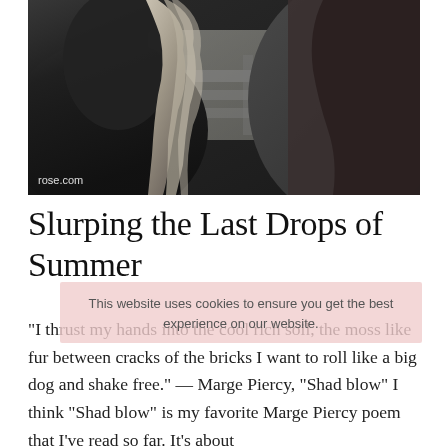[Figure (photo): Black and white close-up photograph of two horses, showing their heads and manes, with a fence or structure visible in the background. Watermark text 'rose.com' in lower left corner.]
Slurping the Last Drops of Summer
This website uses cookies to ensure you get the best experience on our website.
“I thrust my hands into the cool rich soil, the moss like fur between cracks of the bricks I want to roll like a big dog and shake free.” — Marge Piercy, “Shad blow” I think “Shad blow” is my favorite Marge Piercy poem that I’ve read so far. It’s about